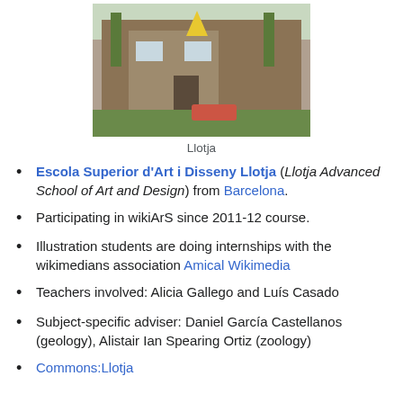[Figure (photo): Exterior photo of Llotja school building with people sitting on grass in front]
Llotja
Escola Superior d'Art i Disseny Llotja (Llotja Advanced School of Art and Design) from Barcelona.
Participating in wikiArS since 2011-12 course.
Illustration students are doing internships with the wikimedians association Amical Wikimedia
Teachers involved: Alicia Gallego and Luís Casado
Subject-specific adviser: Daniel García Castellanos (geology), Alistair Ian Spearing Ortiz (zoology)
Commons:Llotja